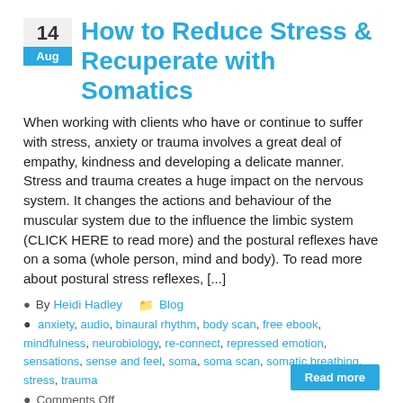How to Reduce Stress & Recuperate with Somatics
When working with clients who have or continue to suffer with stress, anxiety or trauma involves a great deal of empathy, kindness and developing a delicate manner. Stress and trauma creates a huge impact on the nervous system. It changes the actions and behaviour of the muscular system due to the influence the limbic system (CLICK HERE to read more) and the postural reflexes have on a soma (whole person, mind and body). To read more about postural stress reflexes, [...]
By Heidi Hadley  Blog
anxiety, audio, binaural rhythm, body scan, free ebook, mindfulness, neurobiology, re-connect, repressed emotion, sensations, sense and feel, soma, soma scan, somatic breathing, stress, trauma
Comments Off